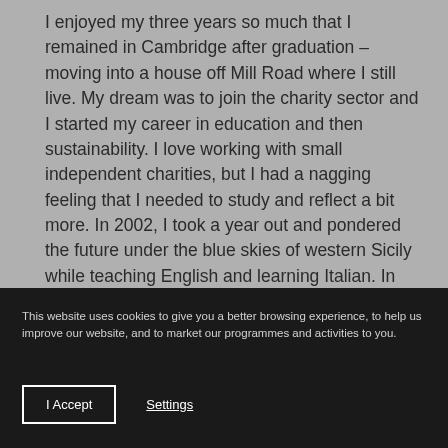I enjoyed my three years so much that I remained in Cambridge after graduation – moving into a house off Mill Road where I still live. My dream was to join the charity sector and I started my career in education and then sustainability. I love working with small independent charities, but I had a nagging feeling that I needed to study and reflect a bit more. In 2002, I took a year out and pondered the future under the blue skies of western Sicily while teaching English and learning Italian. In 2003 I returned to the drizzly UK as CEO of CamSight – the local charity for blind and partially sighted people. It was a great job, but those nagging feelings persisted. I was lucky then to have a
This website uses cookies to give you a better browsing experience, to help us improve our website, and to market our programmes and activities to you.
I Accept
Settings